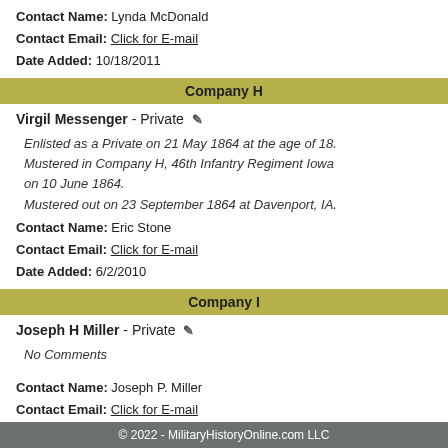Contact Name: Lynda McDonald
Contact Email: Click for E-mail
Date Added: 10/18/2011
Company H
Virgil Messenger - Private
Enlisted as a Private on 21 May 1864 at the age of 18. Mustered in Company H, 46th Infantry Regiment Iowa on 10 June 1864. Mustered out on 23 September 1864 at Davenport, IA.
Contact Name: Eric Stone
Contact Email: Click for E-mail
Date Added: 6/2/2010
Company I
Joseph H Miller - Private
No Comments
Contact Name: Joseph P. Miller
Contact Email: Click for E-mail
Date Added: 10/25/2004
© 2022 - MilitaryHistoryOnline.com LLC